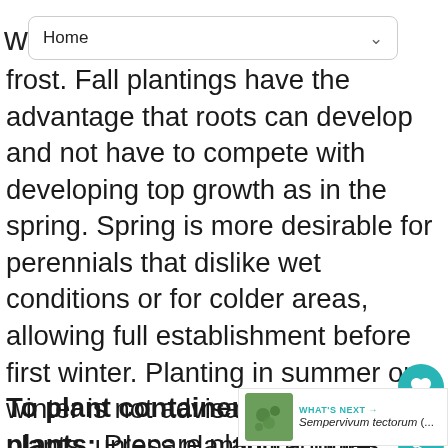wh   Home
frost. Fall plantings have the advantage that roots can develop and not have to compete with developing top growth as in the spring. Spring is more desirable for perennials that dislike wet conditions or for colder areas, allowing full establishment before first winter. Planting in summer or winter is not advisable for most plants, unless planting a more established sized plant.
To plant container-grown plants: Prepare planting holes with appropriate depth and space between. Water the plant thoroughly and let the excess water drain before removing from the container. Carefully loosen